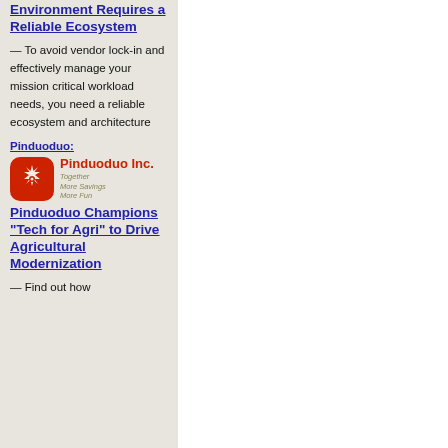Environment Requires a Reliable Ecosystem
— To avoid vendor lock-in and effectively manage your mission critical workload needs, you need a reliable ecosystem and architecture
Pinduoduo:
[Figure (logo): Pinduoduo Inc. logo with red icon and taglines: Together, More Savings, More Fun]
Pinduoduo Champions “Tech for Agri” to Drive Agricultural Modernization
— Find out how